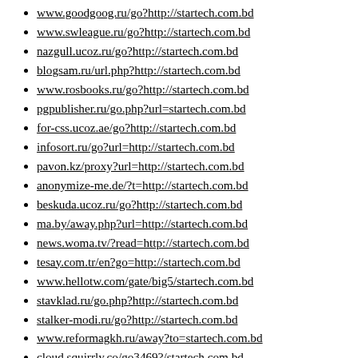www.goodgoog.ru/go?http://startech.com.bd
www.swleague.ru/go?http://startech.com.bd
nazgull.ucoz.ru/go?http://startech.com.bd
blogsam.ru/url.php?http://startech.com.bd
www.rosbooks.ru/go?http://startech.com.bd
pgpublisher.ru/go.php?url=startech.com.bd
for-css.ucoz.ae/go?http://startech.com.bd
infosort.ru/go?url=http://startech.com.bd
pavon.kz/proxy?url=http://startech.com.bd
anonymize-me.de/?t=http://startech.com.bd
beskuda.ucoz.ru/go?http://startech.com.bd
ma.by/away.php?url=http://startech.com.bd
news.woma.tv/?read=http://startech.com.bd
tesay.com.tr/en?go=http://startech.com.bd
www.hellotw.com/gate/big5/startech.com.bd
stavklad.ru/go.php?http://startech.com.bd
stalker-modi.ru/go?http://startech.com.bd
www.reformagkh.ru/away?to=startech.com.bd
cloud.squirrly.co/go3469?/startech.com.bd